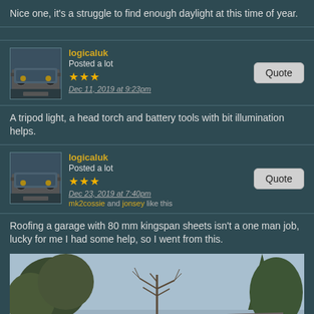Nice one, it's a struggle to find enough daylight at this time of year.
logicaluk
Posted a lot
★★★
Dec 11, 2019 at 9:23pm
A tripod light, a head torch and battery tools with bit illumination helps.
logicaluk
Posted a lot
★★★
Dec 23, 2019 at 7:40pm
mk2cossie and jonsey like this
Roofing a garage with 80 mm kingspan sheets isn't a one man job, lucky for me I had some help, so I went from this.
[Figure (photo): Photo of a garage structure under construction, showing a bare metal roof frame/skeleton against a sky with trees in the background. Concrete block walls visible at the sides.]